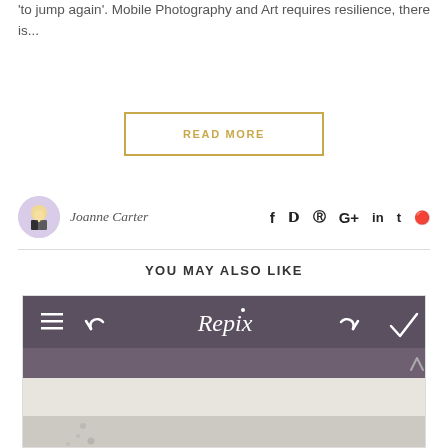'to jump again'. Mobile Photography and Art requires resilience, there is...
READ MORE
Joanne Carter
YOU MAY ALSO LIKE
[Figure (screenshot): Screenshot of the Repix mobile app interface showing hamburger menu, back arrow, Repix title, forward arrow, and checkmark in a dark purple toolbar, with a gray-purple sub-bar and a light gray photo area below showing a faint textured surface]